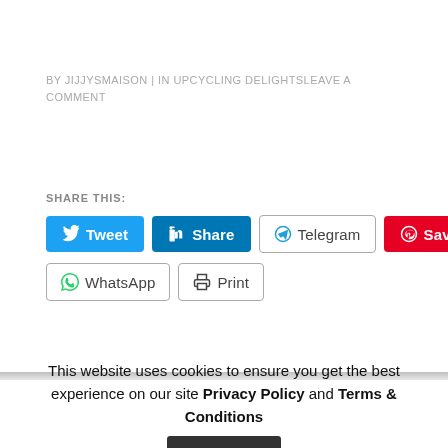BY JIJJYSMAISON | IN UPCYCLING DELIGHTSLEAVE A COMMENT
SHARE THIS:
[Figure (screenshot): Social share buttons: Tweet (Twitter), Share (LinkedIn), Telegram, Save (Pinterest), WhatsApp, Print]
This website uses cookies to ensure you get the best experience on our site Privacy Policy and Terms & Conditions
Accept